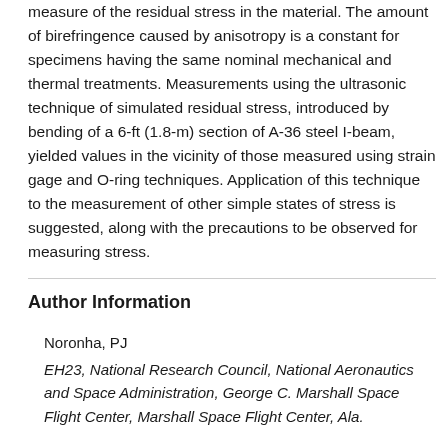measure of the residual stress in the material. The amount of birefringence caused by anisotropy is a constant for specimens having the same nominal mechanical and thermal treatments. Measurements using the ultrasonic technique of simulated residual stress, introduced by bending of a 6-ft (1.8-m) section of A-36 steel I-beam, yielded values in the vicinity of those measured using strain gage and O-ring techniques. Application of this technique to the measurement of other simple states of stress is suggested, along with the precautions to be observed for measuring stress.
Author Information
Noronha, PJ
EH23, National Research Council, National Aeronautics and Space Administration, George C. Marshall Space Flight Center, Marshall Space Flight Center, Ala.